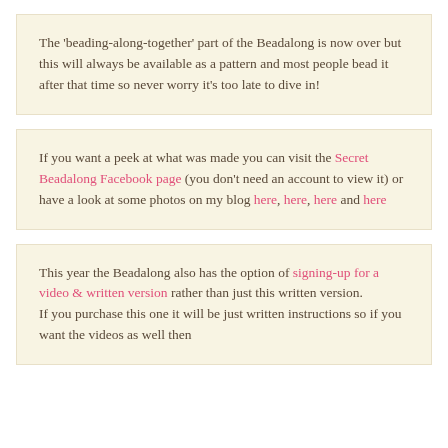The 'beading-along-together' part of the Beadalong is now over but this will always be available as a pattern and most people bead it after that time so never worry it's too late to dive in!
If you want a peek at what was made you can visit the Secret Beadalong Facebook page (you don't need an account to view it) or have a look at some photos on my blog here, here, here and here
This year the Beadalong also has the option of signing-up for a video & written version rather than just this written version. If you purchase this one it will be just written instructions so if you want the videos as well then